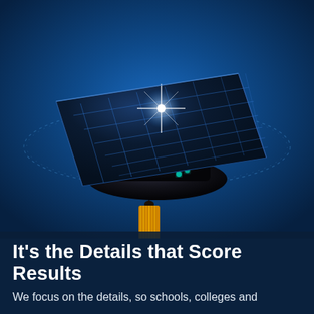[Figure (illustration): A graduation mortarboard cap with a glowing blue solar panel grid overlay on the flat top, and a golden tassel hanging down. The background is a deep blue gradient with circular light-ring effects around the cap, giving a futuristic technology feel.]
It's the Details that Score Results
We focus on the details, so schools, colleges and